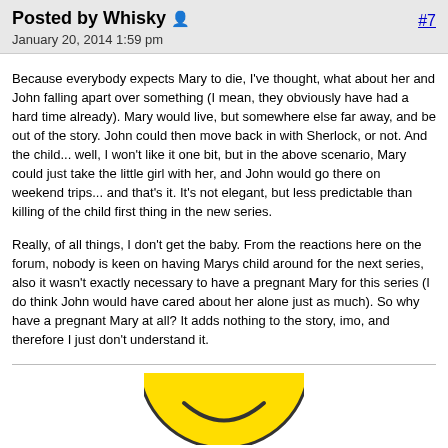Posted by Whisky 🧍 #7
January 20, 2014 1:59 pm
Because everybody expects Mary to die, I've thought, what about her and John falling apart over something (I mean, they obviously have had a hard time already). Mary would live, but somewhere else far away, and be out of the story. John could then move back in with Sherlock, or not. And the child... well, I won't like it one bit, but in the above scenario, Mary could just take the little girl with her, and John would go there on weekend trips... and that's it. It's not elegant, but less predictable than killing of the child first thing in the new series.
Really, of all things, I don't get the baby. From the reactions here on the forum, nobody is keen on having Marys child around for the next series, also it wasn't exactly necessary to have a pregnant Mary for this series (I do think John would have cared about her alone just as much). So why have a pregnant Mary at all? It adds nothing to the story, imo, and therefore I just don't understand it.
[Figure (illustration): Bottom portion of a yellow smiley face emoji/icon, showing the lower arc of a circular face with a smile, partially cropped at the bottom of the page.]